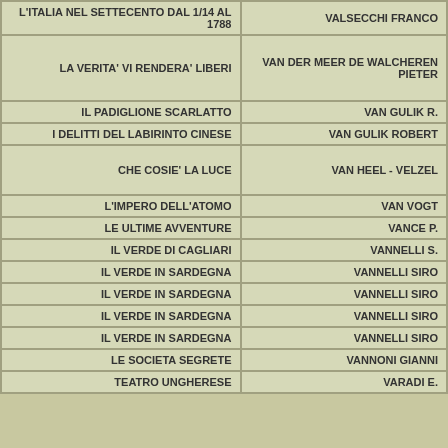| Title | Author |
| --- | --- |
| L'ITALIA NEL SETTECENTO DAL 1/14 AL 1788 | VALSECCHI FRANCO |
| LA VERITA' VI RENDERA' LIBERI | VAN DER MEER DE WALCHEREN PIETER |
| IL PADIGLIONE SCARLATTO | VAN GULIK R. |
| I DELITTI DEL LABIRINTO CINESE | VAN GULIK ROBERT |
| CHE COSIE' LA LUCE | VAN HEEL - VELZEL |
| L'IMPERO DELL'ATOMO | VAN VOGT |
| LE ULTIME AVVENTURE | VANCE P. |
| IL VERDE DI CAGLIARI | VANNELLI S. |
| IL VERDE IN SARDEGNA | VANNELLI SIRO |
| IL VERDE IN SARDEGNA | VANNELLI SIRO |
| IL VERDE IN SARDEGNA | VANNELLI SIRO |
| IL VERDE IN SARDEGNA | VANNELLI SIRO |
| LE SOCIETA SEGRETE | VANNONI GIANNI |
| TEATRO UNGHERESE | VARADI E. |